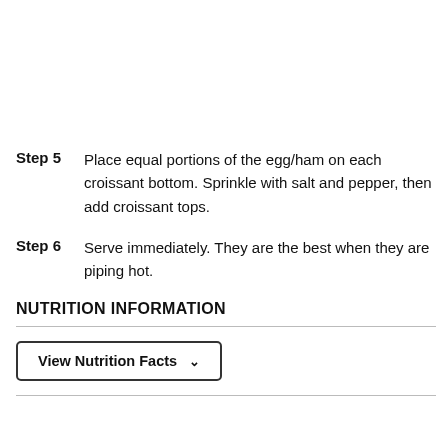Step 5   Place equal portions of the egg/ham on each croissant bottom. Sprinkle with salt and pepper, then add croissant tops.
Step 6   Serve immediately. They are the best when they are piping hot.
NUTRITION INFORMATION
View Nutrition Facts ∨